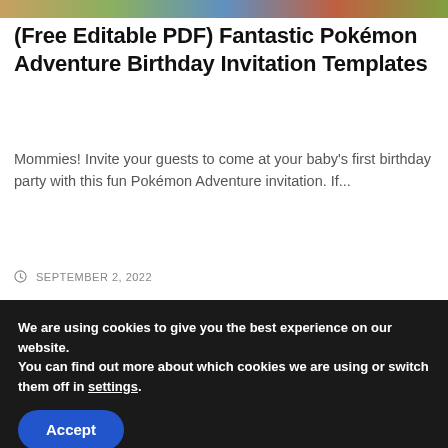[Figure (photo): Colorful image strip at top of page showing partial photos]
(Free Editable PDF) Fantastic Pokémon Adventure Birthday Invitation Templates
Mommies! Invite your guests to come at your baby's first birthday party with this fun Pokémon Adventure invitation. If...
SEPTEMBER 2, 2022
Leave a Reply
We are using cookies to give you the best experience on our website.
You can find out more about which cookies we are using or switch them off in settings.